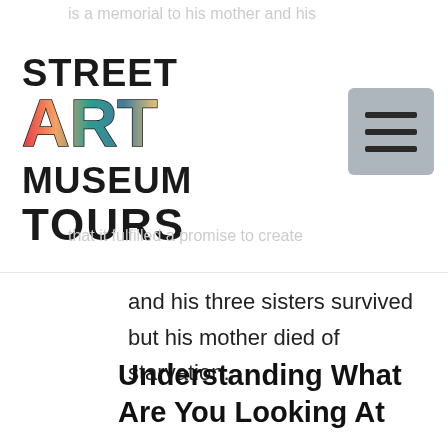Street Art Museum Tours
is a memorial to his mother and his
and his three sisters survived but his mother died of starvation.
Understanding What Are You Looking At
This painting is a self-portrait of himself as a boy with his mother from a photo. He worked on it for some sixteen years or so. He holds a flower and his mother sits